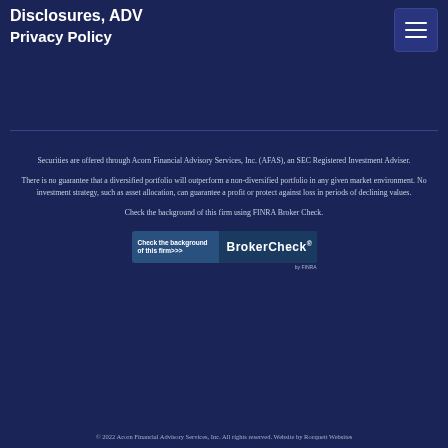Disclosures, ADV
Privacy Policy
Securities are offered through Acorn Financial Advisory Services, Inc. (AFAS), an SEC Registered Investment Adviser.
There is no guarantee that a diversified portfolio will outperform a non-diversified portfolio in any given market environment. No investment strategy, such as asset allocation, can guarantee a profit or protect against loss in periods of declining values.
Check the background of this firm using FINRA Broker Check.
[Figure (logo): BrokerCheck button - Check the background of this firm>>> BrokerCheck by FINRA]
© 2022 Acorn Financial Advisory Services, Inc. All rights reserved. Website by Rocquett Websites